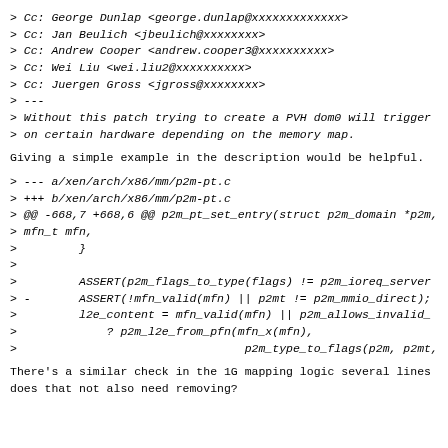> Cc: George Dunlap <george.dunlap@xxxxxxxxxxxxx>
> Cc: Jan Beulich <jbeulich@xxxxxxxx>
> Cc: Andrew Cooper <andrew.cooper3@xxxxxxxxxx>
> Cc: Wei Liu <wei.liu2@xxxxxxxxxx>
> Cc: Juergen Gross <jgross@xxxxxxxx>
> ---
> Without this patch trying to create a PVH dom0 will trigger
> on certain hardware depending on the memory map.
Giving a simple example in the description would be helpful.
> --- a/xen/arch/x86/mm/p2m-pt.c
> +++ b/xen/arch/x86/mm/p2m-pt.c
> @@ -668,7 +668,6 @@ p2m_pt_set_entry(struct p2m_domain *p2m,
> mfn_t mfn,
>             }
>
>             ASSERT(p2m_flags_to_type(flags) != p2m_ioreq_server
> -           ASSERT(!mfn_valid(mfn) || p2mt != p2m_mmio_direct);
>             l2e_content = mfn_valid(mfn) || p2m_allows_invalid_
>                 ? p2m_l2e_from_pfn(mfn_x(mfn),
>                                     p2m_type_to_flags(p2m, p2mt,
There's a similar check in the 1G mapping logic several lines
does that not also need removing?